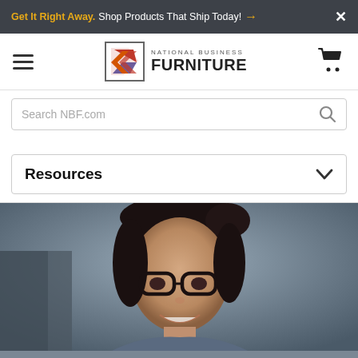Get It Right Away. Shop Products That Ship Today! →  ✕
[Figure (logo): National Business Furniture logo with hamburger menu and cart icon]
Search NBF.com
Resources ✓
[Figure (photo): Woman with dark hair in bun, wearing glasses, smiling]